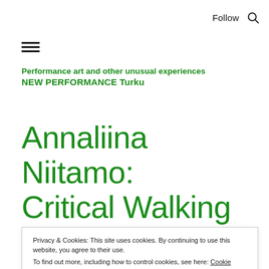Follow
Performance art and other unusual experiences NEW PERFORMANCE Turku
Annaliina Niitamo: Critical Walking
Privacy & Cookies: This site uses cookies. By continuing to use this website, you agree to their use. To find out more, including how to control cookies, see here: Cookie Policy Close and accept
bandalisation , wrote French theorist and poet